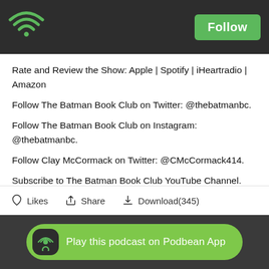Podbean app header with wifi logo and Follow button
Rate and Review the Show: Apple | Spotify | iHeartradio | Amazon
Follow The Batman Book Club on Twitter: @thebatmanbc.
Follow The Batman Book Club on Instagram: @thebatmanbc.
Follow Clay McCormack on Twitter: @CMcCormack414.
Subscribe to The Batman Book Club YouTube Channel.
Support the Show Through Patreon: patreon.com/thebatmanbc.
Support the Show with Merchandise from TeePublic.
Likes  Share  Download(345)  |  Play this podcast on Podbean App